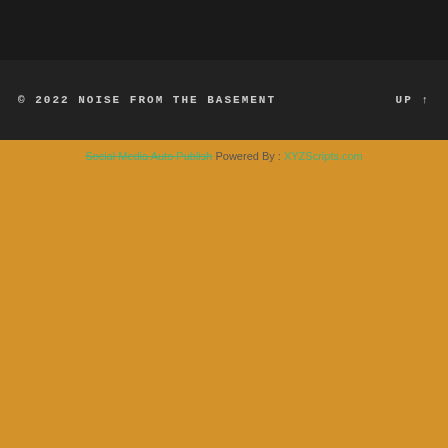© 2022 NOISE FROM THE BASEMENT   UP ↑
Social Media Auto Publish Powered By : XYZScripts.com